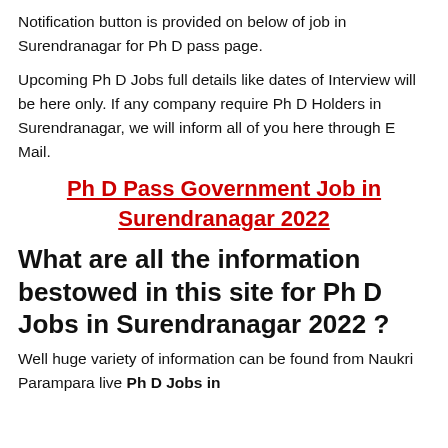Notification button is provided on below of job in Surendranagar for Ph D pass page.
Upcoming Ph D Jobs full details like dates of Interview will be here only. If any company require Ph D Holders in Surendranagar, we will inform all of you here through E Mail.
Ph D Pass Government Job in Surendranagar 2022
What are all the information bestowed in this site for Ph D Jobs in Surendranagar 2022 ?
Well huge variety of information can be found from Naukri Parampara live Ph D Jobs in